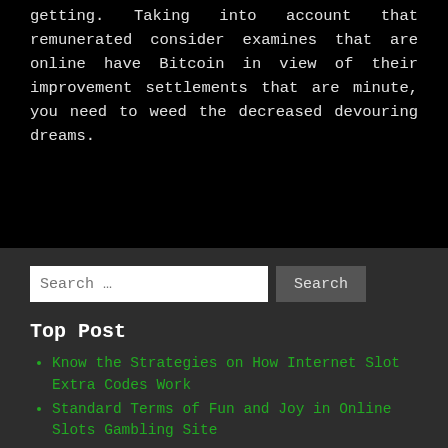getting. Taking into account that remunerated consider examines that are online have Bitcoin in view of their improvement settlements that are minute, you need to weed the decreased devouring dreams.
Search ...
Top Post
Know the Strategies on How Internet Slot Extra Codes Work
Standard Terms of Fun and Joy in Online Slots Gambling Site